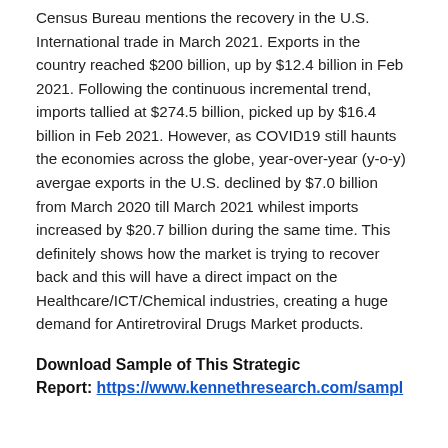Census Bureau mentions the recovery in the U.S. International trade in March 2021. Exports in the country reached $200 billion, up by $12.4 billion in Feb 2021. Following the continuous incremental trend, imports tallied at $274.5 billion, picked up by $16.4 billion in Feb 2021. However, as COVID19 still haunts the economies across the globe, year-over-year (y-o-y) avergae exports in the U.S. declined by $7.0 billion from March 2020 till March 2021 whilest imports increased by $20.7 billion during the same time. This definitely shows how the market is trying to recover back and this will have a direct impact on the Healthcare/ICT/Chemical industries, creating a huge demand for Antiretroviral Drugs Market products.
Download Sample of This Strategic Report: https://www.kennethresearch.com/sampl